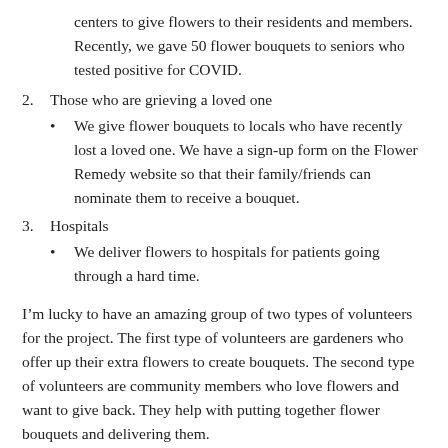centers to give flowers to their residents and members. Recently, we gave 50 flower bouquets to seniors who tested positive for COVID.
2. Those who are grieving a loved one
We give flower bouquets to locals who have recently lost a loved one. We have a sign-up form on the Flower Remedy website so that their family/friends can nominate them to receive a bouquet.
3. Hospitals
We deliver flowers to hospitals for patients going through a hard time.
I’m lucky to have an amazing group of two types of volunteers for the project. The first type of volunteers are gardeners who offer up their extra flowers to create bouquets. The second type of volunteers are community members who love flowers and want to give back. They help with putting together flower bouquets and delivering them.